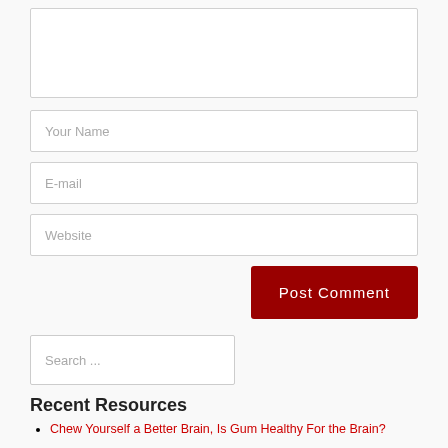[Figure (screenshot): Empty textarea input box for comment]
Your Name
E-mail
Website
Post Comment
Search ...
Recent Resources
Chew Yourself a Better Brain, Is Gum Healthy For the Brain?